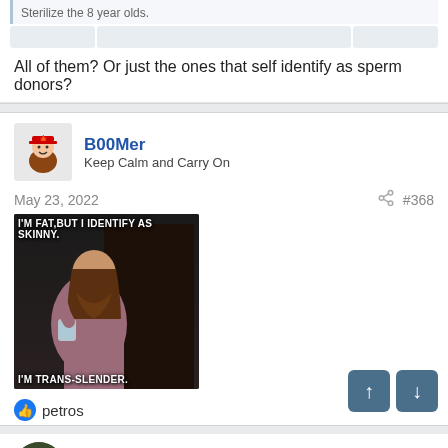Sterilize the 8 year olds.
All of them? Or just the ones that self identify as sperm donors?
B00Mer
Keep Calm and Carry On
May 23, 2022
#368
[Figure (photo): Meme image of a man in a robe holding a glass with text: I'M FAT,BUT I IDENTIFY AS SKINNY. / I'M TRANS-SLENDER.]
petros
Jinentonix